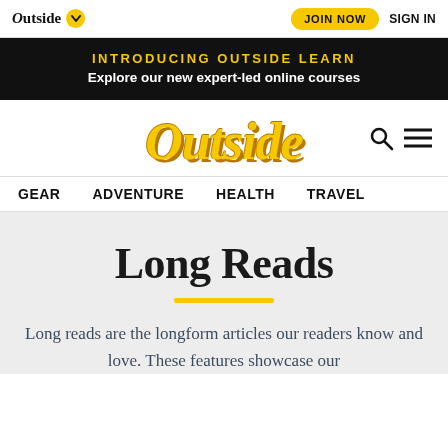Outside | JOIN NOW | SIGN IN
INTRODUCING OUTSIDE LEARN
Explore our new expert-led online courses
[Figure (logo): Outside magazine logo in yellow italic serif font with 3D shadow effect, search and menu icons to the right]
GEAR   ADVENTURE   HEALTH   TRAVEL
Long Reads
Long reads are the longform articles our readers know and love. These features showcase our